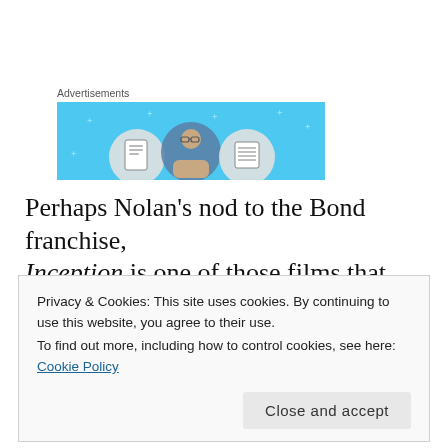Advertisements
[Figure (illustration): Advertisement banner with light blue background showing three circular icons: a document/notebook, a person with glasses, and a list/lines icon, with small star/plus decorations on the background.]
Perhaps Nolan's nod to the Bond franchise, Inception is one of those films that gets better and more satisfying with each repeated
Privacy & Cookies: This site uses cookies. By continuing to use this website, you agree to their use.
To find out more, including how to control cookies, see here: Cookie Policy
Close and accept